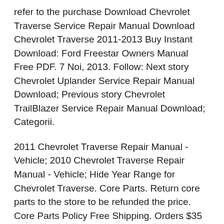refer to the purchase Download Chevrolet Traverse Service Repair Manual Download Chevrolet Traverse 2011-2013 Buy Instant Download: Ford Freestar Owners Manual Free PDF. 7 Noi, 2013. Follow: Next story Chevrolet Uplander Service Repair Manual Download; Previous story Chevrolet TrailBlazer Service Repair Manual Download; Categorii.
2011 Chevrolet Traverse Repair Manual - Vehicle; 2010 Chevrolet Traverse Repair Manual - Vehicle; Hide Year Range for Chevrolet Traverse. Core Parts. Return core parts to the store to be refunded the price. Core Parts Policy Free Shipping. Orders $35 or greater, includes APO, FPO, DPO addresses. Download Chevrolet Traverse Service Repair Manual Download